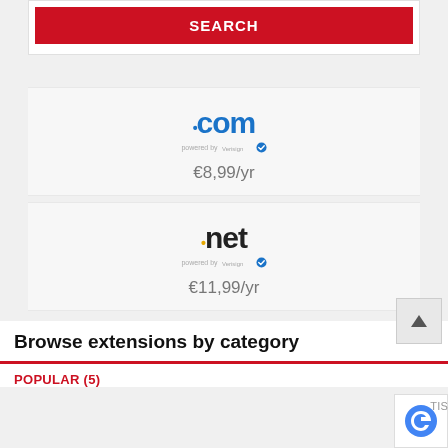[Figure (other): Red SEARCH button at top of page]
[Figure (other): .com domain logo with 'powered by Verisign' badge and blue verified checkmark]
€8,99/yr
[Figure (other): .net domain logo with yellow dot, 'powered by Verisign' badge and blue verified checkmark]
€11,99/yr
Browse extensions by category
POPULAR (5)